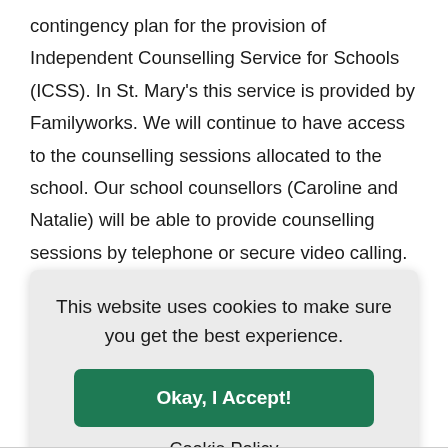contingency plan for the provision of Independent Counselling Service for Schools (ICSS). In St. Mary's this service is provided by Familyworks. We will continue to have access to the counselling sessions allocated to the school. Our school counsellors (Caroline and Natalie) will be able to provide counselling sessions by telephone or secure video calling. Details have been posted on
This website uses cookies to make sure you get the best experience.
Okay, I Accept!
Cookie Policy